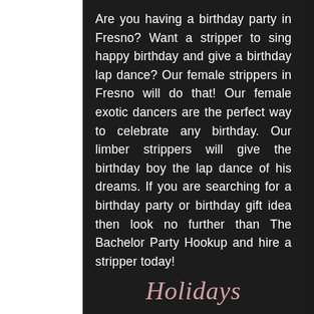Are you having a birthday party in Fresno? Want a stripper to sing happy birthday and give a birthday lap dance? Our female strippers in Fresno will do that! Our female exotic dancers are the perfect way to celebrate any birthday. Our limber strippers will give the birthday boy the lap dance of his dreams. If you are searching for a birthday party or birthday gift idea then look no further than The Bachelor Party Hookup and hire a stripper today!
Holidays